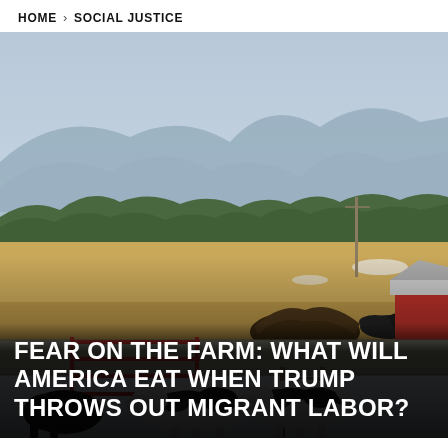HOME > SOCIAL JUSTICE
[Figure (photo): A dairy farm scene with Holstein cows in a concrete-walled pen, a red metal gate, a red and white barn structure on the right, tire piles, a large dirt/manure pile, open farm fields, evergreen and deciduous trees, and distant blue mountains under a hazy sky.]
FEAR ON THE FARM: WHAT WILL AMERICA EAT WHEN TRUMP THROWS OUT MIGRANT LABOR?